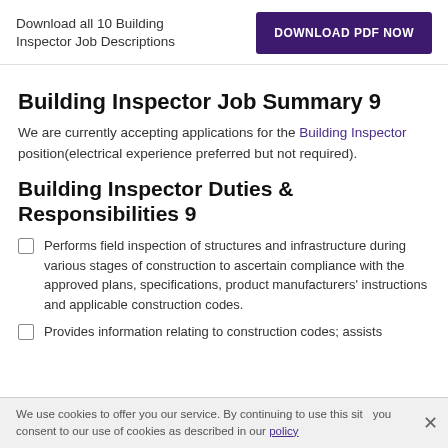Download all 10 Building Inspector Job Descriptions
[Figure (other): DOWNLOAD PDF NOW button (dark purple rectangle)]
Building Inspector Job Summary 9
We are currently accepting applications for the Building Inspector position(electrical experience preferred but not required).
Building Inspector Duties & Responsibilities 9
Performs field inspection of structures and infrastructure during various stages of construction to ascertain compliance with the approved plans, specifications, product manufacturers' instructions and applicable construction codes.
Provides information relating to construction codes; assists
We use cookies to offer you our service. By continuing to use this site you consent to our use of cookies as described in our policy